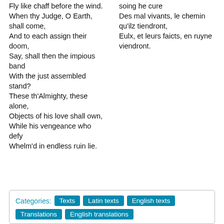Fly like chaff before the wind.
When thy Judge, O Earth, shall come,
And to each assign their doom,
Say, shall then the impious band
With the just assembled stand?
These th'Almighty, these alone,
Objects of his love shall own,
While his vengeance who defy
Whelm'd in endless ruin lie.
soing he cure
Des mal vivants, le chemin qu'ilz tiendront,
Eulx, et leurs faicts, en ruyne viendront.
Categories: Texts  Latin texts  English texts  Translations  English translations